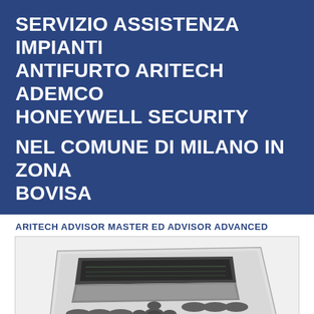SERVIZIO ASSISTENZA IMPIANTI ANTIFURTO ARITECH ADEMCO HONEYWELL SECURITY
NEL COMUNE DI MILANO IN ZONA BOVISA
ARITECH ADVISOR MASTER ED ADVISOR ADVANCED
[Figure (photo): Photo of an Aritech/Honeywell security alarm keypad with LCD display and multiple buttons, shown at an angle on white background.]